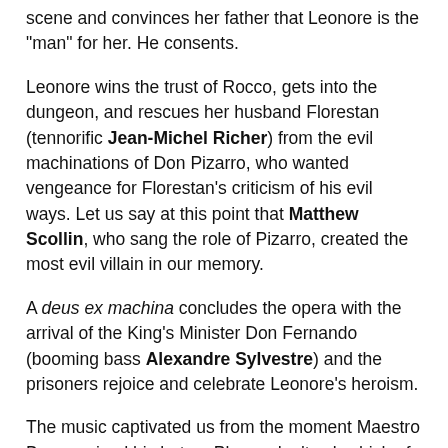scene and convinces her father that Leonore is the "man" for her. He consents.
Leonore wins the trust of Rocco, gets into the dungeon, and rescues her husband Florestan (tennorific Jean-Michel Richer) from the evil machinations of Don Pizarro, who wanted vengeance for Florestan's criticism of his evil ways. Let us say at this point that Matthew Scollin, who sang the role of Pizarro, created the most evil villain in our memory.
A deus ex machina concludes the opera with the arrival of the King's Minister Don Fernando (booming bass Alexandre Sylvestre) and the prisoners rejoice and celebrate Leonore's heroism.
The music captivated us from the moment Maestro Brown raised his baton. Please don't ask which of the four overtures we heard. It's like trying to sort out Puccini's four iterations of Madama Butterfly. Whichever it was we enjoyed the descending motif and the portentous theme. There were ascending flute arpeggi to lighten the mood. When the orchestra got into the melody that all Beethoven lovers will